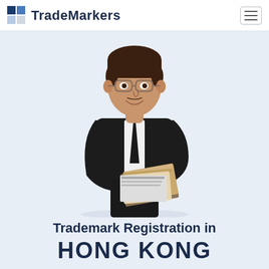TradeMarkers
[Figure (photo): Professional man in black suit and tie, wearing glasses, holding a stack of documents/binders, smiling, against a light blue background]
Trademark Registration in HONG KONG